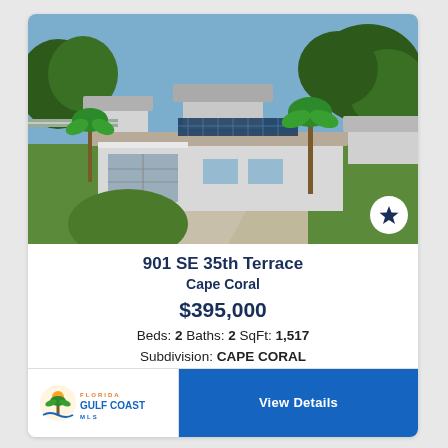[Figure (photo): Aerial drone photo of a single-story house at 901 SE 35th Terrace, Cape Coral. The house has solar panels on the roof, a curved driveway, palm trees, and green lawn. Neighboring houses and a street are visible in the background.]
901 SE 35th Terrace
Cape Coral
$395,000
Beds: 2 Baths: 2 SqFt: 1,517 Subdivision: CAPE CORAL
[Figure (logo): Florida Gulf Coast MLS logo with palm tree and sun icon]
View Details